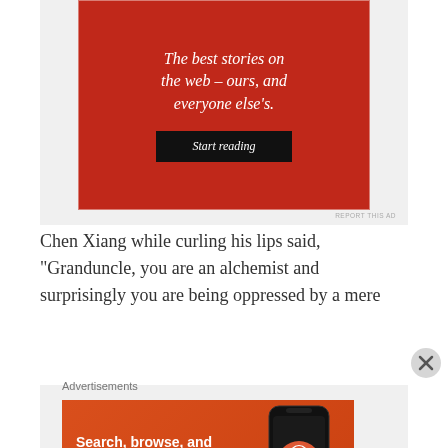[Figure (other): Red advertisement banner with white text reading 'The best stories on the web – ours, and everyone else's.' and a dark 'Start reading' button]
REPORT THIS AD
Chen Xiang while curling his lips said, "Granduncle, you are an alchemist and surprisingly you are being oppressed by a mere
Advertisements
[Figure (other): DuckDuckGo advertisement banner: orange background, white text 'Search, browse, and email with more privacy.' with white pill button 'All in One Free App' and a phone mockup showing DuckDuckGo logo]